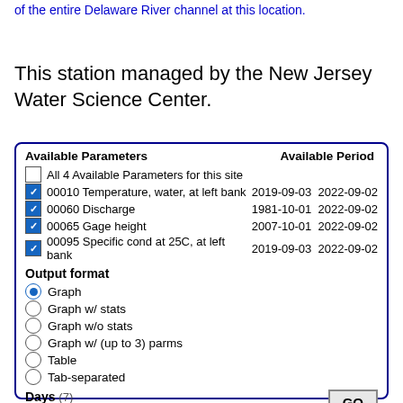of the entire Delaware River channel at this location.
This station managed by the New Jersey Water Science Center.
| Available Parameters | Available Period |
| --- | --- |
| All 4 Available Parameters for this site |  |
| ☑ 00010 Temperature, water, at left bank | 2019-09-03  2022-09-02 |
| ☑ 00060 Discharge | 1981-10-01  2022-09-02 |
| ☑ 00065 Gage height | 2007-10-01  2022-09-02 |
| ☑ 00095 Specific cond at 25C, at left bank | 2019-09-03  2022-09-02 |
Output format
Graph (selected)
Graph w/ stats
Graph w/o stats
Graph w/ (up to 3) parms
Table
Tab-separated
Days  (7)
-- or --
Begin date